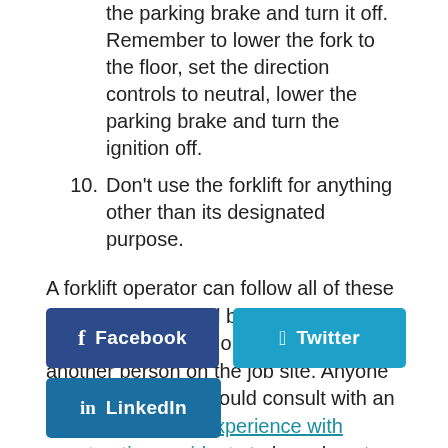the parking brake and turn it off. Remember to lower the fork to the floor, set the direction controls to neutral, lower the parking brake and turn the ignition off.
10. Don't use the forklift for anything other than its designated purpose.
A forklift operator can follow all of these safety steps but still be injured because of faulty equipment or a negligent act of another person on the job site. Anyone suffering an injury could consult with an attorney who has experience with construction accidents to learn how to recoup the costs of medical expenses, time off the job and more.
[Figure (other): Social share buttons: Facebook (dark blue), Twitter (light blue), LinkedIn (medium blue)]